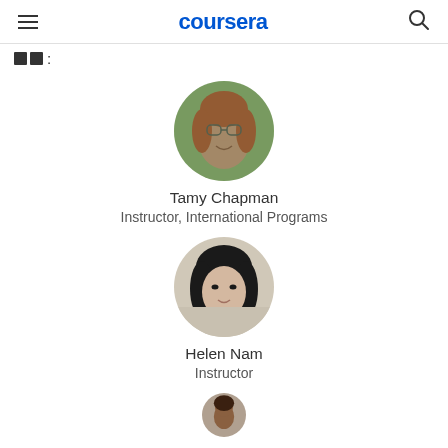coursera
[Figure (photo): Circular profile photo of Tamy Chapman, woman with glasses and reddish hair, outdoors with green background]
Tamy Chapman
Instructor, International Programs
[Figure (photo): Circular profile photo of Helen Nam, woman with black hair, light background]
Helen Nam
Instructor
[Figure (photo): Circular profile photo of a third instructor, partially visible at bottom of page]